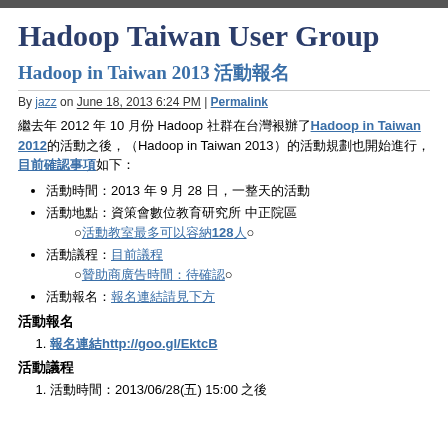Hadoop Taiwan User Group
Hadoop in Taiwan 2013 活動報名
By jazz on June 18, 2013 6:24 PM | Permalink
繼去年 2012 年 10 月份 Hadoop 社群在台灣舉辦了Hadoop in Taiwan 2012的活動之後，Hadoop in Taiwan 2013的活動規劃也開始進行，目前確認事項如下：
活動時間：2013 年 9 月 28 日，一整天的活動
活動地點：資策會數位教育研究所 中正院區
○活動教室最多可以容納128人○
活動議程：目前議程
○贊助商廣告時間: 待確認○
活動報名：報名連結請見下方
活動報名
報名連結http://goo.gl/EktcB
活動議程
活動時間：2013/06/28(五) 15:00 之後